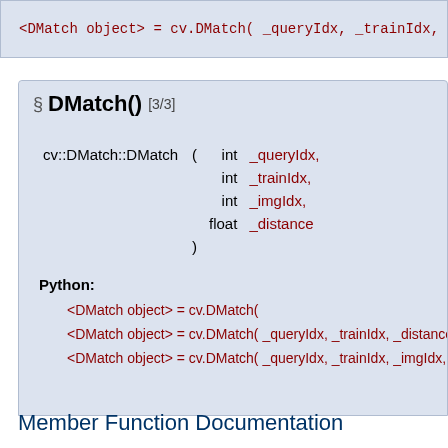<DMatch object> = cv.DMatch( _queryIdx, _trainIdx, _imgIdx, _dis...
§ DMatch() [3/3]
cv::DMatch::DMatch ( int _queryIdx, int _trainIdx, int _imgIdx, float _distance )
Python:
<DMatch object> = cv.DMatch(
<DMatch object> = cv.DMatch( _queryIdx, _trainIdx, _distance
<DMatch object> = cv.DMatch( _queryIdx, _trainIdx, _imgIdx, _dis...
Member Function Documentation